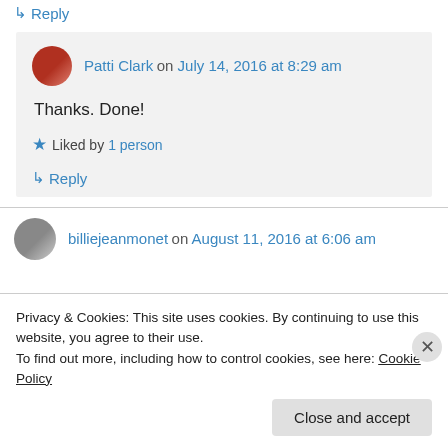↳ Reply
Patti Clark on July 14, 2016 at 8:29 am
Thanks. Done!
★ Liked by 1 person
↳ Reply
billiejeanmonet on August 11, 2016 at 6:06 am
Privacy & Cookies: This site uses cookies. By continuing to use this website, you agree to their use.
To find out more, including how to control cookies, see here: Cookie Policy
Close and accept